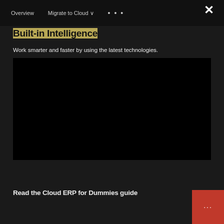Overview   Migrate to Cloud ∨   • • •   ✕
Built-in Intelligence
Work smarter and faster by using the latest technologies.
[Figure (screenshot): Black video player area]
Read the Cloud ERP for Dummies guide